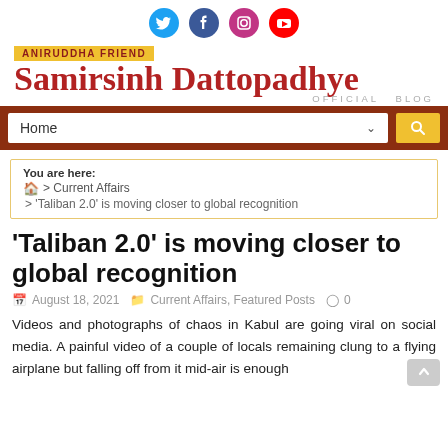[Figure (other): Social media icons: Twitter, Facebook, Instagram, YouTube]
ANIRUDDHA FRIEND
Samirsinh Dattopadhye
OFFICIAL BLOG
[Figure (infographic): Navigation bar with Home dropdown and search button]
You are here:
🏠 > Current Affairs
> 'Taliban 2.0' is moving closer to global recognition
'Taliban 2.0' is moving closer to global recognition
August 18, 2021  Current Affairs, Featured Posts  0
Videos and photographs of chaos in Kabul are going viral on social media. A painful video of a couple of locals remaining clung to a flying airplane but falling off from it mid-air is enough